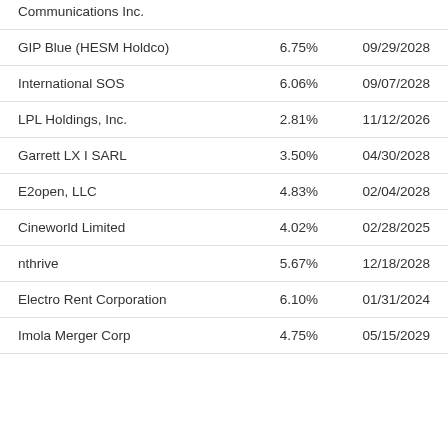| Company | Rate | Maturity |
| --- | --- | --- |
| Communications Inc. |  |  |
| GIP Blue (HESM Holdco) | 6.75% | 09/29/2028 |
| International SOS | 6.06% | 09/07/2028 |
| LPL Holdings, Inc. | 2.81% | 11/12/2026 |
| Garrett LX I SARL | 3.50% | 04/30/2028 |
| E2open, LLC | 4.83% | 02/04/2028 |
| Cineworld Limited | 4.02% | 02/28/2025 |
| nthrive | 5.67% | 12/18/2028 |
| Electro Rent Corporation | 6.10% | 01/31/2024 |
| Imola Merger Corp | 4.75% | 05/15/2029 |